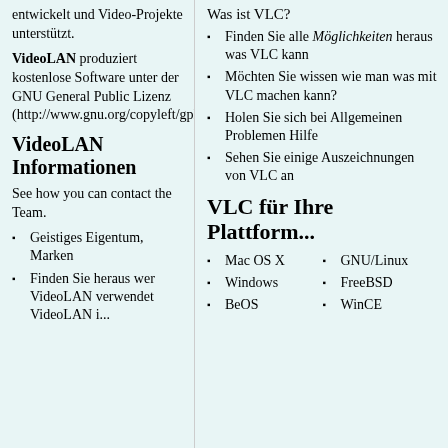entwickelt und Video-Projekte unterstützt.
VideoLAN produziert kostenlose Software unter der GNU General Public Lizenz (http://www.gnu.org/copyleft/gpl.html).
VideoLAN Informationen
See how you can contact the Team.
Geistiges Eigentum, Marken
Finden Sie heraus wer VideoLAN verwendet VideoLAN i...
Was ist VLC?
Finden Sie alle Möglichkeiten heraus was VLC kann
Möchten Sie wissen wie man was mit VLC machen kann?
Holen Sie sich bei Allgemeinen Problemen Hilfe
Sehen Sie einige Auszeichnungen von VLC an
VLC für Ihre Plattform...
Mac OS X
Windows
BeOS
GNU/Linux
FreeBSD
WinCE